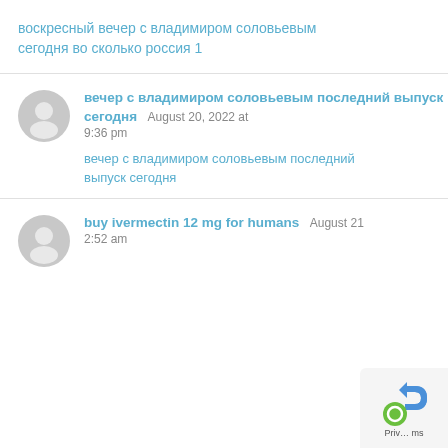воскресный вечер с владимиром соловьевым сегодня во сколько россия 1
вечер с владимиром соловьевым последний выпуск сегодня  August 20, 2022 at 9:36 pm
вечер с владимиром соловьевым последний выпуск сегодня
buy ivermectin 12 mg for humans  August 21... 2:52 am